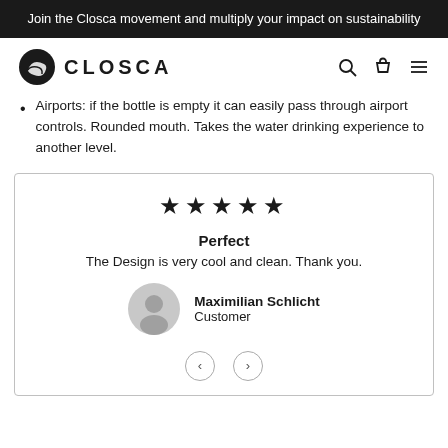Join the Closca movement and multiply your impact on sustainability
[Figure (logo): Closca logo with circular icon and CLOSCA wordmark text, plus navigation icons for search, cart, and menu]
Airports: if the bottle is empty it can easily pass through airport controls. Rounded mouth. Takes the water drinking experience to another level.
★★★★★
Perfect
The Design is very cool and clean. Thank you.
Maximilian Schlicht
Customer